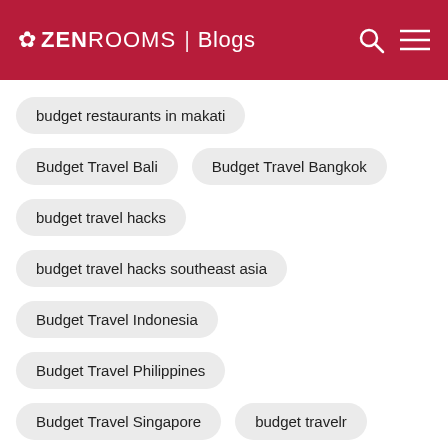ZEN ROOMS | Blogs
budget restaurants in makati
Budget Travel Bali
Budget Travel Bangkok
budget travel hacks
budget travel hacks southeast asia
Budget Travel Indonesia
Budget Travel Philippines
Budget Travel Singapore
budget travelr
budget-friendly
budget-travel
budgettravel
buffet 101 cebu